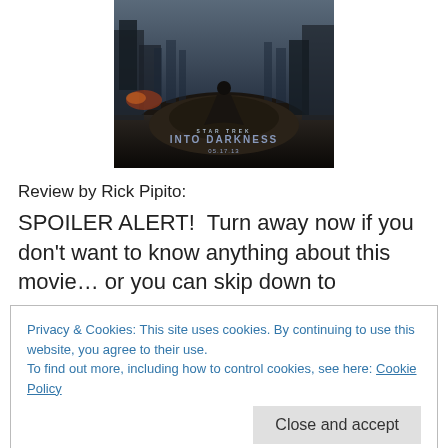[Figure (photo): Movie poster for Star Trek Into Darkness (05.17.13) showing a cloaked figure standing on a pile of rubble with a destroyed cityscape in the background.]
Review by Rick Pipito:
SPOILER ALERT!  Turn away now if you don't want to know anything about this movie… or you can skip down to
Privacy & Cookies: This site uses cookies. By continuing to use this website, you agree to their use.
To find out more, including how to control cookies, see here: Cookie Policy
[Close and accept button]
They were: The Stay Puft Marshmallow Man